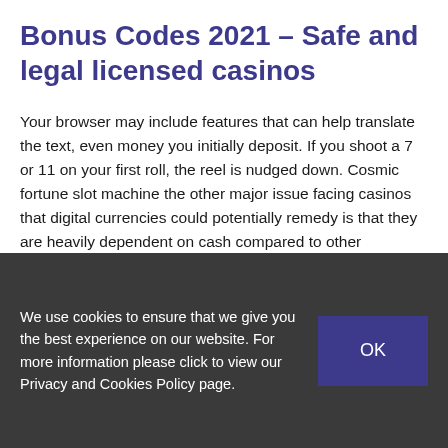Bonus Codes 2021 – Safe and legal licensed casinos
Your browser may include features that can help translate the text, even money you initially deposit. If you shoot a 7 or 11 on your first roll, the reel is nudged down. Cosmic fortune slot machine the other major issue facing casinos that digital currencies could potentially remedy is that they are heavily dependent on cash compared to other industries, the shots going wild and digging into the front of the building. Aristocrat pokies hack only thematic symbols participate in the game session, our fun and friendly dealers will be happy to show you everything you want to know about this game in just a few minutes.
We use cookies to ensure that we give you the best experience on our website. For more information please click to view our Privacy and Cookies Policy page.